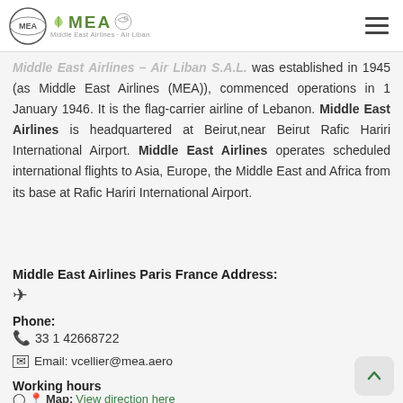Middle East Airlines – Air Liban (MEA) logo and navigation
Middle East Airlines – Air Liban S.A.L. was established in 1945 (as Middle East Airlines (MEA)), commenced operations in 1 January 1946. It is the flag-carrier airline of Lebanon. Middle East Airlines is headquartered at Beirut,near Beirut Rafic Hariri International Airport. Middle East Airlines operates scheduled international flights to Asia, Europe, the Middle East and Africa from its base at Rafic Hariri International Airport.
Middle East Airlines Paris France Address:
📍 (address icon)
Phone:
📞 33 1 42668722
✉ Email: vcellier@mea.aero
Working hours
🕐 📍 Map: View direction here